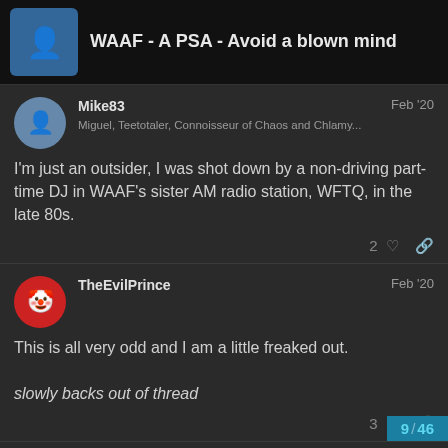WAAF - A PSA - Avoid a blown mind
Mike83
Miguel, Teetotaler, Connoisseur of Chaos and Chlamy...
Feb '20
I'm just an outsider, I was shot down by a non-driving part-time DJ in WAAF's sister AM radio station, WFTQ, in the late 80s.
2
TheEvilPrince
Feb '20
This is all very odd and I am a little freaked out.
slowly backs out of thread
3
9 / 46
johnlocke